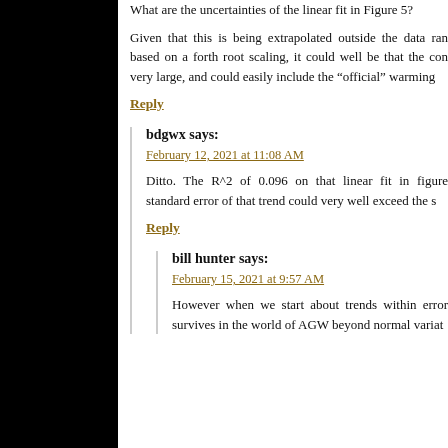What are the uncertainties of the linear fit in Figure 5?
Given that this is being extrapolated outside the data range based on a forth root scaling, it could well be that the confidence very large, and could easily include the "official" warming
Reply
bdgwx says:
February 12, 2021 at 11:08 AM
Ditto. The R^2 of 0.096 on that linear fit in figure standard error of that trend could very well exceed the s
Reply
bill hunter says:
February 15, 2021 at 9:57 AM
However when we start about trends within error survives in the world of AGW beyond normal variat